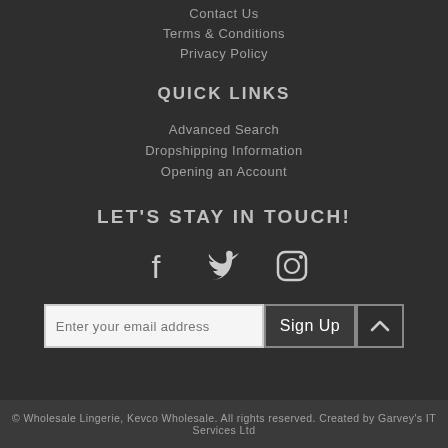Contact Us
Terms & Conditions
Privacy Policy
QUICK LINKS
Advanced Search
Dropshipping Information
Opening an Account
LET'S STAY IN TOUCH!
[Figure (infographic): Social media icons: Facebook, Twitter, Instagram]
Enter your email address  Sign Up
© Wholesale Lingerie, Kevco Wholesale. All rights reserved. Created by Garvey's IT Services Ltd